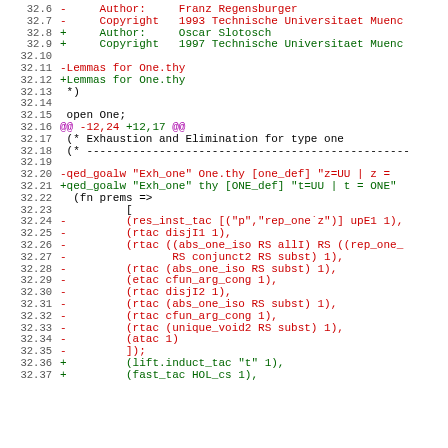Code diff showing changes to One.thy lemmas file, lines 32.6 through 32.37